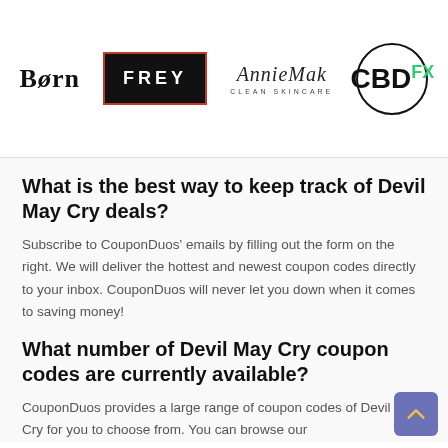[Figure (logo): Four brand logos: Born, FREY, AnnieMak Clean Skincare, CBDfx]
What is the best way to keep track of Devil May Cry deals?
Subscribe to CouponDuos' emails by filling out the form on the right. We will deliver the hottest and newest coupon codes directly to your inbox. CouponDuos will never let you down when it comes to saving money!
What number of Devil May Cry coupon codes are currently available?
CouponDuos provides a large range of coupon codes of Devil May Cry for you to choose from. You can browse our